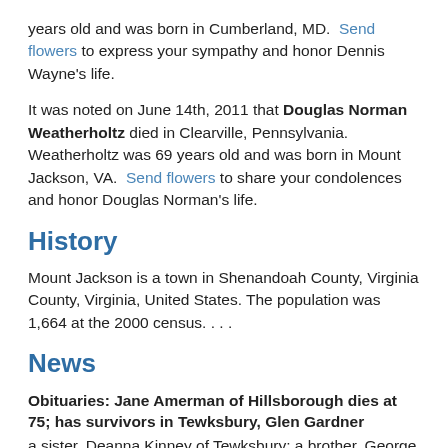years old and was born in Cumberland, MD.  Send flowers to express your sympathy and honor Dennis Wayne's life.
It was noted on June 14th, 2011 that Douglas Norman Weatherholtz died in Clearville, Pennsylvania.  Weatherholtz was 69 years old and was born in Mount Jackson, VA.  Send flowers to share your condolences and honor Douglas Norman's life.
History
Mount Jackson is a town in Shenandoah County, Virginia County, Virginia, United States. The population was 1,664 at the 2000 census. . . .
News
Obituaries: Jane Amerman of Hillsborough dies at 75; has survivors in Tewksbury, Glen Gardner
a sister, Deanna Kinney of Tewksbury; a brother, George Brobst of Culpepper, Va.; six grandchildren ... and two great-grandchildren...